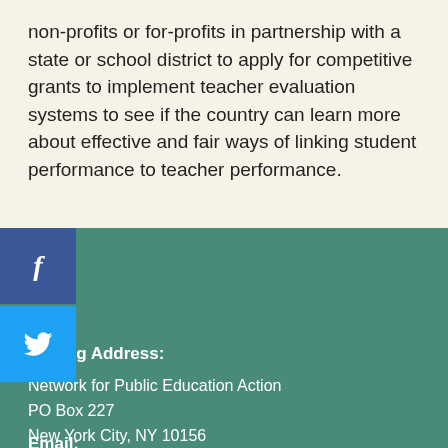non-profits or for-profits in partnership with a state or school district to apply for competitive grants to implement teacher evaluation systems to see if the country can learn more about effective and fair ways of linking student performance to teacher performance.
[Figure (other): Facebook share button - dark blue square with white letter f]
[Figure (other): Twitter share button - light blue square with white bird icon]
Mailing Address:
Network for Public Education Action
PO Box 227
New York City, NY 10156
Email: